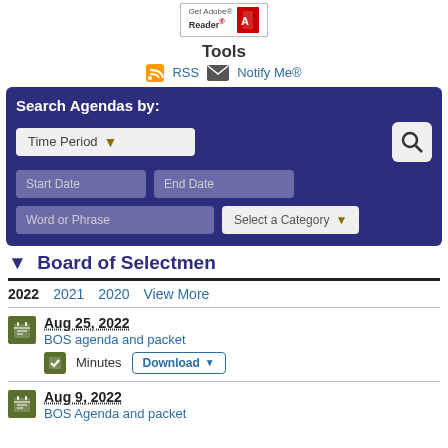[Figure (logo): Get Adobe Reader logo button]
Tools
RSS  Notify Me®
[Figure (screenshot): Search Agendas form with Time Period dropdown, Start Date, End Date, Word or Phrase, Select a Category, and search button]
▼ Board of Selectmen
2022  2021  2020  View More
Aug 25, 2022
BOS agenda and packet
Minutes  Download
Aug 9, 2022
BOS Agenda and packet